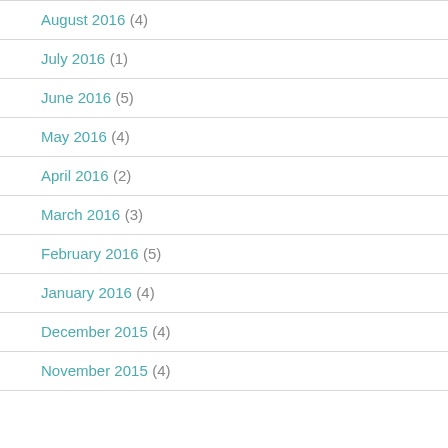August 2016 (4)
July 2016 (1)
June 2016 (5)
May 2016 (4)
April 2016 (2)
March 2016 (3)
February 2016 (5)
January 2016 (4)
December 2015 (4)
November 2015 (4)